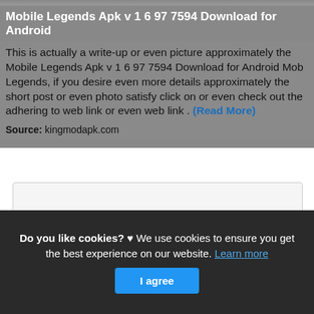[Figure (photo): Top image bar from a mobile app screenshot]
Mobile Legends Apk v 1 6 97 7594 Download for Android
This is actually a write-up or even picture approximately the Mobile Legends Apk v 1 6 97 7594 Download for Android Mobile Legends, if you desire even more details approximately the short post or even photo satisfy click on or even check out the adhering to web link or even web link . (Read More)
Source: kingmodapk.com
[Figure (other): Empty content/ad placeholder box]
Do you like cookies? ♥ We use cookies to ensure you get the best experience on our website. Learn more
I agree